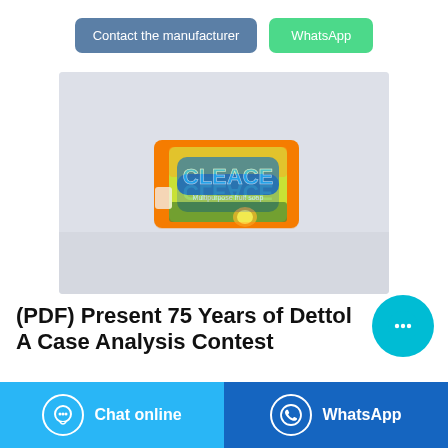[Figure (other): Two buttons: 'Contact the manufacturer' (blue-grey) and 'WhatsApp' (green)]
[Figure (photo): Product photo of CLEACE Multipurpose Fruit Soap bar in orange/yellow/green packaging, on a reflective white surface]
(PDF) Present 75 Years of Dettol A Case Analysis Contest
[Figure (other): Cyan circular chat bubble button with ellipsis icon]
[Figure (other): Bottom bar with 'Chat online' button (light blue) and 'WhatsApp' button (dark blue)]